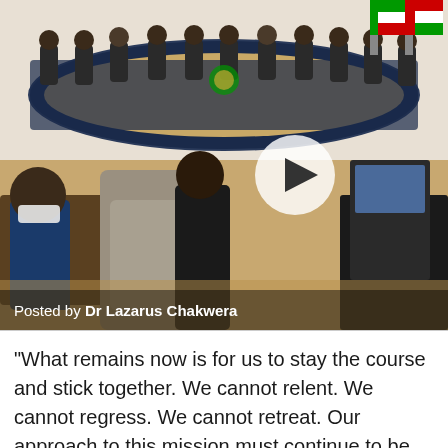[Figure (photo): Video screenshot of a large conference/summit meeting room with delegates seated around a large curved table with African Union style branding. In the foreground, a man wearing a face mask sits at a desk. A video play button overlay is visible in the center of the image. Text overlay at the bottom reads 'Posted by Dr Lazarus Chakwera'.]
Posted by Dr Lazarus Chakwera
“What remains now is for us to stay the course and stick together. We cannot relent. We cannot regress. We cannot retreat. Our approach to this mission must continue to be multidimensional and comprehensive. It must not only focus on neutralizing the threat, but also have a post-